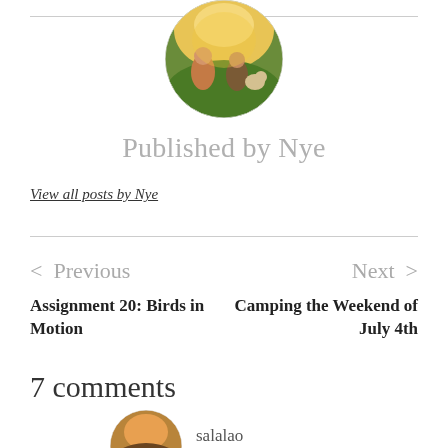[Figure (photo): Circular avatar photo of a person outdoors with warm sunlight]
Published by Nye
View all posts by Nye
< Previous
Next >
Assignment 20: Birds in Motion
Camping the Weekend of July 4th
7 comments
[Figure (photo): Circular avatar photo at bottom of page, partially visible]
salalao